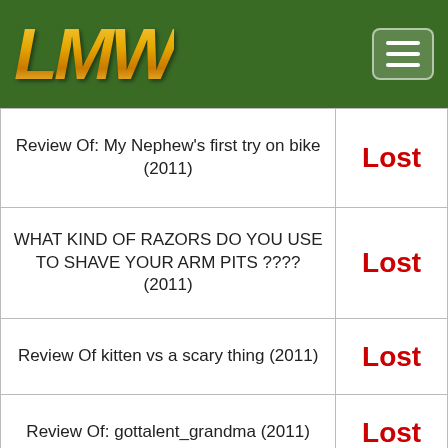LMW logo and navigation menu
| Title | Status |
| --- | --- |
| Review Of: My Nephew's first try on bike (2011) | Lost |
| WHAT KIND OF RAZORS DO YOU USE TO SHAVE YOUR ARM PITS ???? (2011) | Lost |
| Review Of kitten vs a scary thing (2011) | Lost |
| Review Of: gottalent_grandma (2011) | Lost |
| Review Of: Fumaca Waterfall in Chapada Diamantina, Brazil (2011) | Lost |
| Review Of: In-N-Out Burger – Opening Day, High Noon! (2011) | Lost |
| I HAVE BIG SILVER BALLS AND I'M BANGING THEM TOGETHER | Lost |
| Review Of: Britney Spears Deleted | Lost |